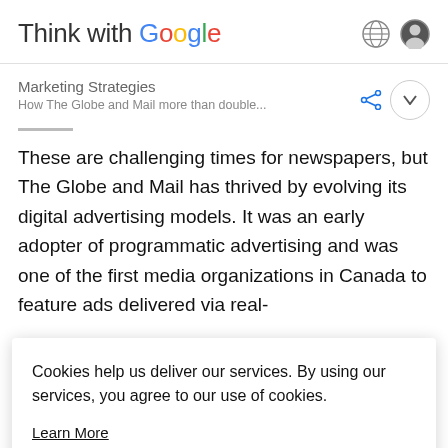Think with Google
Marketing Strategies
How The Globe and Mail more than double...
These are challenging times for newspapers, but The Globe and Mail has thrived by evolving its digital advertising models. It was an early adopter of programmatic advertising and was one of the first media organizations in Canada to feature ads delivered via real-
Cookies help us deliver our services. By using our services, you agree to our use of cookies.

Learn More

Got It
S...